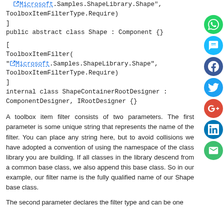Microsoft.Samples.ShapeLibrary.Shape", ToolboxItemFilterType.Require)
]
public abstract class Shape : Component {}
[
ToolboxItemFilter(
"Microsoft.Samples.ShapeLibrary.Shape",
ToolboxItemFilterType.Require)
]
internal class ShapeContainerRootDesigner : ComponentDesigner, IRootDesigner {}
A toolbox item filter consists of two parameters. The first parameter is some unique string that represents the name of the filter. You can place any string here, but to avoid collisions we have adopted a convention of using the namespace of the class library you are building. If all classes in the library descend from a common base class, we also append this base class. So in our example, our filter name is the fully qualified name of our Shape base class.
The second parameter declares the filter type and can be one